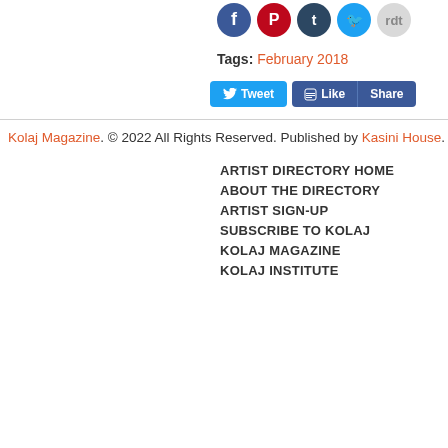[Figure (other): Social media share icons: Facebook, Pinterest, Tumblr, Twitter, Reddit]
Tags: February 2018
[Figure (other): Tweet button, Like button, Share button]
Kolaj Magazine. © 2022 All Rights Reserved. Published by Kasini House.
ARTIST DIRECTORY HOME
ABOUT THE DIRECTORY
ARTIST SIGN-UP
SUBSCRIBE TO KOLAJ
KOLAJ MAGAZINE
KOLAJ INSTITUTE